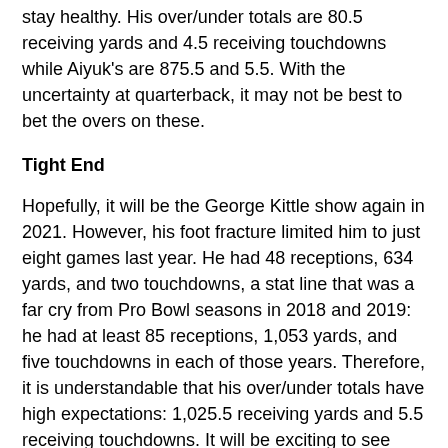stay healthy. His over/under totals are 80.5 receiving yards and 4.5 receiving touchdowns while Aiyuk's are 875.5 and 5.5. With the uncertainty at quarterback, it may not be best to bet the overs on these.
Tight End
Hopefully, it will be the George Kittle show again in 2021. However, his foot fracture limited him to just eight games last year. He had 48 receptions, 634 yards, and two touchdowns, a stat line that was a far cry from Pro Bowl seasons in 2018 and 2019: he had at least 85 receptions, 1,053 yards, and five touchdowns in each of those years. Therefore, it is understandable that his over/under totals have high expectations: 1,025.5 receiving yards and 5.5 receiving touchdowns. It will be exciting to see Kittle on the field again, and those numbers should be attainable as long as he stays healthy.
49ers Predictions for the 2021 Season